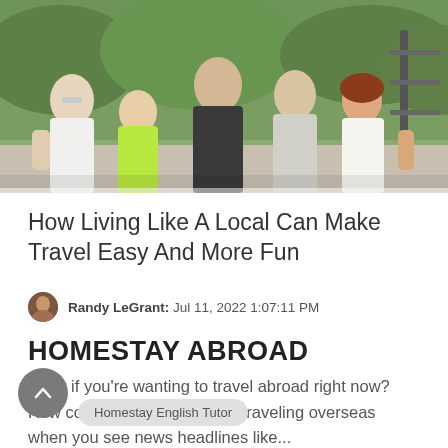[Figure (photo): A family of five posing outdoors in front of green hedges and a metal fence. From left to right: an older man in white shirt, a young girl in green top, a tall young man in dark polo, a teenage boy in light shirt, and a woman with auburn hair in a white top.]
How Living Like A Local Can Make Travel Easy And More Fun
Randy LeGrant: Jul 11, 2022 1:07:11 PM
HOMESTAY ABROAD
What if you're wanting to travel abroad right now? How comfortable do you feel traveling overseas when you see news headlines like...
Homestay English Tutor